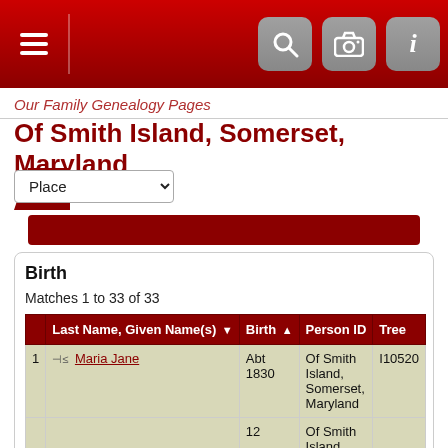Our Family Genealogy Pages
Of Smith Island, Somerset, Maryland
Place (dropdown)
Birth
Matches 1 to 33 of 33
|  | Last Name, Given Name(s) | Birth | Of Smith Island, Somerset, Maryland | Person ID | Tree |
| --- | --- | --- | --- | --- | --- |
| 1 | Maria Jane | Abt 1830 | Of Smith Island, Somerset, Maryland | I10520 | Ewell' in Ameri |
| 12 |  |  | Of Smith Island, |  | Ewell' |